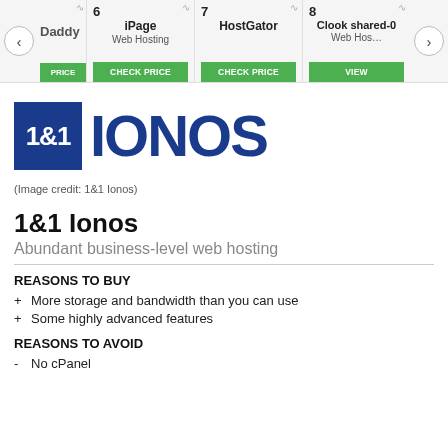[Figure (screenshot): Web hosting comparison carousel showing items 6 iPage Web Hosting, 7 HostGator, 8 Clook shared-0 Web Hosting, with CHECK PRICE and VIEW buttons, and navigation arrows]
[Figure (logo): 1&1 IONOS logo — blue square with white 1&1 and large blue IONOS text]
(Image credit: 1&1 Ionos)
1&1 Ionos
Abundant business-level web hosting
REASONS TO BUY
+  More storage and bandwidth than you can use
+  Some highly advanced features
REASONS TO AVOID
-  No cPanel